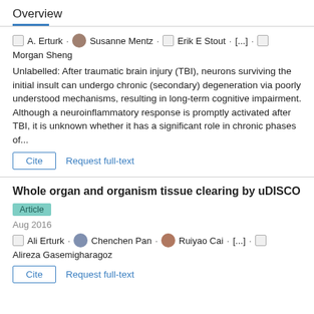Overview
A. Erturk · Susanne Mentz · Erik E Stout · [...] · Morgan Sheng
Unlabelled: After traumatic brain injury (TBI), neurons surviving the initial insult can undergo chronic (secondary) degeneration via poorly understood mechanisms, resulting in long-term cognitive impairment. Although a neuroinflammatory response is promptly activated after TBI, it is unknown whether it has a significant role in chronic phases of...
Whole organ and organism tissue clearing by uDISCO
Article
Aug 2016
Ali Erturk · Chenchen Pan · Ruiyao Cai · [...] · Alireza Gasemigharagoz